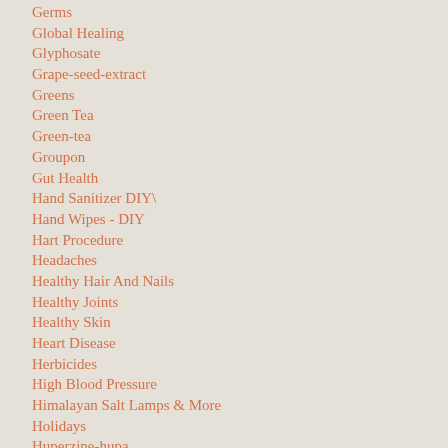Germs
Global Healing
Glyphosate
Grape-seed-extract
Greens
Green Tea
Green-tea
Groupon
Gut Health
Hand Sanitizer DIY\
Hand Wipes - DIY
Hart Procedure
Headaches
Healthy Hair And Nails
Healthy Joints
Healthy Skin
Heart Disease
Herbicides
High Blood Pressure
Himalayan Salt Lamps & More
Holidays
Huperzine-hupa